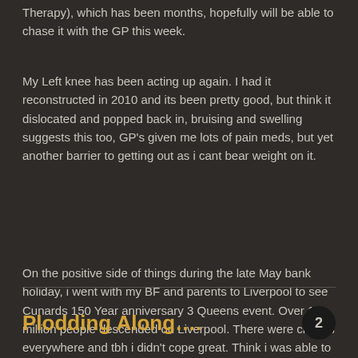Therapy), which has been months, hopefully will be able to chase it with the GP this week.
My Left knee has been acting up again. I had it reconstructed in 2010 and its been pretty good, but think it dislocated and popped back in, bruising and swelling suggests this too, GP's given me lots of pain meds, but yet another barrier to getting out as i cant bear weight on it.
On the positive side of things during the late May bank holiday, i went with my BF and parents to Liverpool to see Cunards 150 Year anniversary 3 Queens event. Over 1 million people descended on Liverpool. There were crowds everywhere and tbh i didn't cope great. Think i was able to mask a lot of it. but got to the stage where everyone was concerned and knew it was causing me issues (except for the crowd stewards who refused to help u, when we needed it).
Plodding Along….